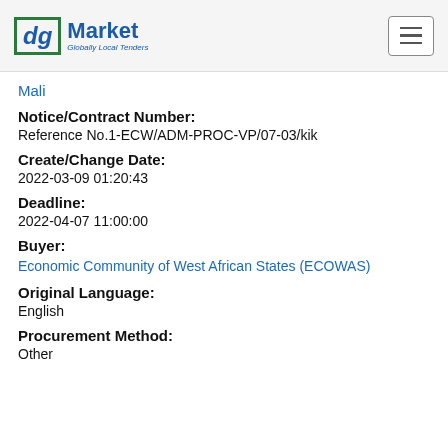[Figure (logo): dgMarket logo with green border box containing 'dg' in italic blue and 'Market / Globally Local Tenders' in blue text]
Mali
Notice/Contract Number:
Reference No.1-ECW/ADM-PROC-VP/07-03/kik
Create/Change Date:
2022-03-09 01:20:43
Deadline:
2022-04-07 11:00:00
Buyer:
Economic Community of West African States (ECOWAS)
Original Language:
English
Procurement Method:
Other